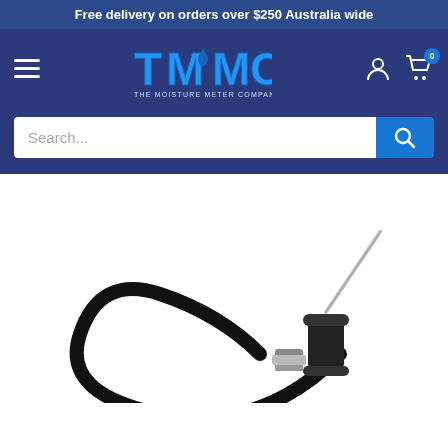Free delivery on orders over $250 Australia wide
[Figure (logo): TMMC - The Moisture Meter Company logo with blue stylized text and water drop graphic]
[Figure (screenshot): Website navigation bar with hamburger menu, TMMC logo, user account icon, and shopping cart icon showing 0 items]
[Figure (photo): Product photo of a moisture meter probe with black cable and metal connector on white background]